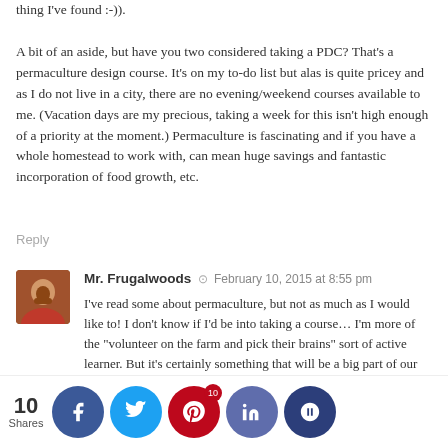thing I've found :-)).
A bit of an aside, but have you two considered taking a PDC? That's a permaculture design course. It's on my to-do list but alas is quite pricey and as I do not live in a city, there are no evening/weekend courses available to me. (Vacation days are my precious, taking a week for this isn't high enough of a priority at the moment.) Permaculture is fascinating and if you have a whole homestead to work with, can mean huge savings and fantastic incorporation of food growth, etc.
Reply
Mr. Frugalwoods · February 10, 2015 at 8:55 pm
I've read some about permaculture, but not as much as I would like to! I don't know if I'd be into taking a course… I'm more of the "volunteer on the farm and pick their brains" sort of active learner. But it's certainly something that will be a big part of our life in the not-so-distant future. I need to reserve some more books at the library... 😉
10 Shares
Ju... Root of... · Febr..., 2015 at ...pm